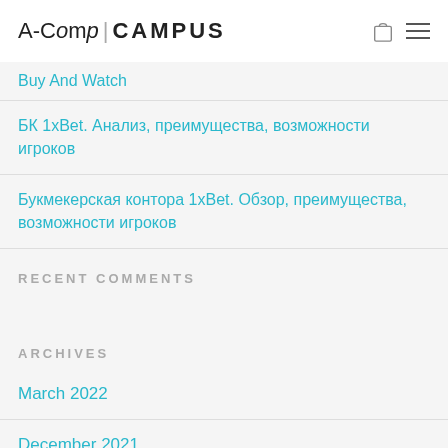A-Comp CAMPUS
Buy And Watch
БК 1xBet. Анализ, преимущества, возможности игроков
Букмекерская контора 1xBet. Обзор, преимущества, возможности игроков
RECENT COMMENTS
ARCHIVES
March 2022
December 2021
May 2021
October 2020